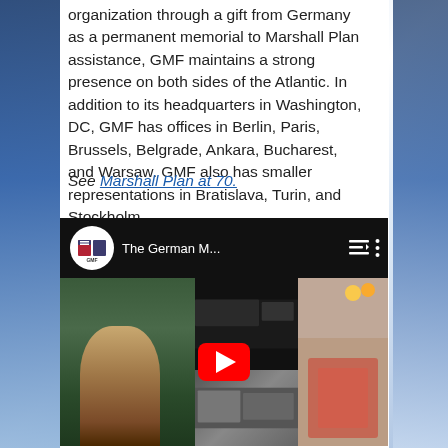organization through a gift from Germany as a permanent memorial to Marshall Plan assistance, GMF maintains a strong presence on both sides of the Atlantic. In addition to its headquarters in Washington, DC, GMF has offices in Berlin, Paris, Brussels, Belgrade, Ankara, Bucharest, and Warsaw. GMF also has smaller representations in Bratislava, Turin, and Stockholm.
See Marshall Plan at 70.
[Figure (screenshot): YouTube video thumbnail for 'The German M...' with GMF logo, showing images of people and scenes, with a red YouTube play button overlay.]